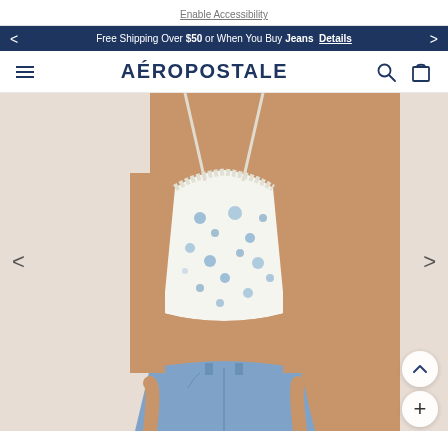Enable Accessibility
Free Shipping Over $50 or When You Buy Jeans  Details
AÉROPOSTALE
[Figure (photo): Young woman wearing a white floral crop cami top with blue flower print and lace trim, paired with light blue jeans. The image shows the torso area with hands in front pockets. Navigation arrows visible on left and right sides. Scroll-up and plus buttons in bottom right corner.]